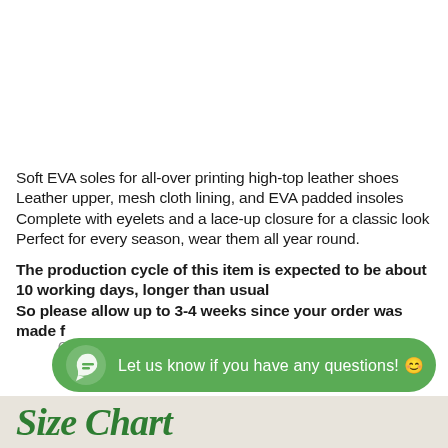Soft EVA soles for all-over printing high-top leather shoes
Leather upper, mesh cloth lining, and EVA padded insoles
Complete with eyelets and a lace-up closure for a classic look
Perfect for every season, wear them all year round.
The production cycle of this item is expected to be about 10 working days, longer than usual
So please allow up to 3-4 weeks since your order was made for the item to arrive at your place.
[Figure (other): Green chat overlay button with message icon and text: Let us know if you have any questions! 😊]
[Figure (other): Size Chart section header in green italic serif font over a light beige/gray background]